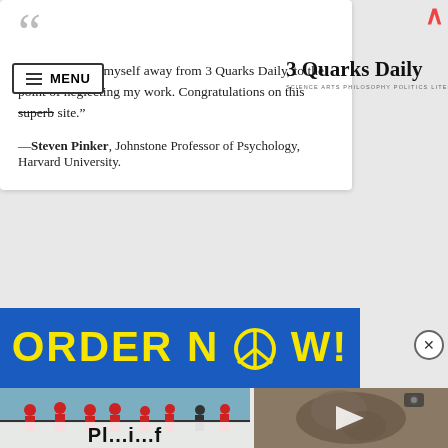“I couldn’t tear myself away from 3 Quarks Daily, to the point of neglecting my work. Congratulations on this superb site.”
—Steven Pinker, Johnstone Professor of Psychology, Harvard University.
[Figure (logo): 3 Quarks Daily logo with tagline: SCIENCE ARTS PHILOSOPHY POLITICS LITERATURE]
[Figure (infographic): Advertisement banner reading ORDER NOW! in yellow text on blue background with peace sign replacing the O in NOW]
[Figure (photo): People in red outfits exercising/marching outdoors near water]
[Figure (screenshot): Video thumbnail showing a biological/embryo image with a play button overlay]
Pl...i...f